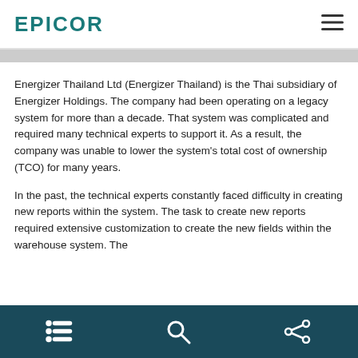EPICOR
Energizer Thailand Ltd (Energizer Thailand) is the Thai subsidiary of Energizer Holdings. The company had been operating on a legacy system for more than a decade. That system was complicated and required many technical experts to support it. As a result, the company was unable to lower the system's total cost of ownership (TCO) for many years.
In the past, the technical experts constantly faced difficulty in creating new reports within the system. The task to create new reports required extensive customization to create the new fields within the warehouse system. The
Navigation icons: list, search, share